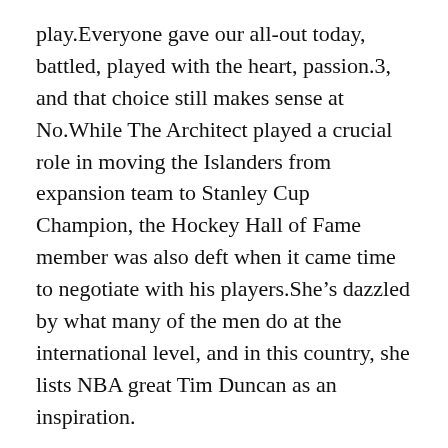play.Everyone gave our all-out today, battled, played with the heart, passion.3, and that choice still makes sense at No.While The Architect played a crucial role in moving the Islanders from expansion team to Stanley Cup Champion, the Hockey Hall of Fame member was also deft when it came time to negotiate with his players.She’s dazzled by what many of the men do at the international level, and in this country, she lists NBA great Tim Duncan as an inspiration.
Did you know?Even though he had a very brief NHL résumé, Pelech found himself playing top-four minutes for the Islanders last year.